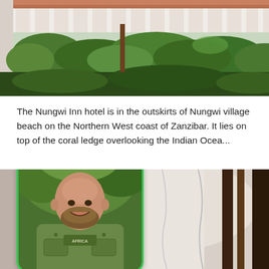[Figure (photo): Exterior photo of the Nungwi Inn hotel showing a white balustrade railing, green bushes and trees, Moorish architectural style columns and arches.]
The Nungwi Inn hotel is in the outskirts of Nungwi village beach on the Northern West coast of Zanzibar. It lies on top of the coral ledge overlooking the Indian Ocea...
[Figure (photo): A screenshot from a video showing a bald man with a beard wearing a green safari/Africa vest jacket, smiling, standing outdoors with trees in background. A green rounded-rectangle border frames the person. A dark circular close button with an X is in the top right of the card. Behind the card is a partial view of another hotel room photo showing white drapes and dark wood.]